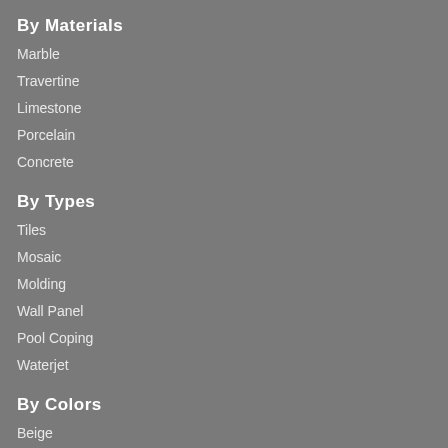By Materials
Marble
Travertine
Limestone
Porcelain
Concrete
By Types
Tiles
Mosaic
Molding
Wall Panel
Pool Coping
Waterjet
By Colors
Beige